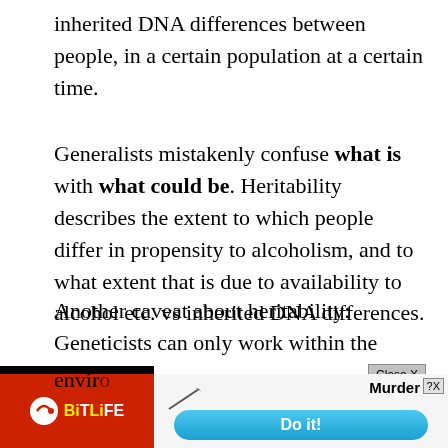inherited DNA differences between people, in a certain population at a certain time.
Generalists mistakenly confuse what is with what could be. Heritability describes the extent to which people differ in propensity to alcoholism, and to what extent that is due to availability to alcohol etc. vs inherited DNA differences.
Another caveat about heritability: Geneticists can only work within the range that they are able to study. This typically covers about 95% of a population but doesn't include the extremes e.g. single gene mutations, nor does it include the envir...
[Figure (screenshot): Advertisement banner: BitLife game ad with red background showing BitLife logo on left, and 'Murder Do it!' panel on right with a blue 'Do it!' button. A 'Close X' button appears at top right of the ad area.]